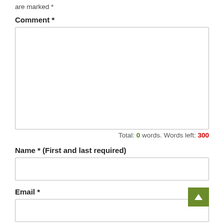are marked *
Comment *
[Figure (other): Large empty comment textarea input field]
Total: 0 words. Words left: 300
Name * (First and last required)
[Figure (other): Single-line Name text input field]
Email *
[Figure (other): Scroll-to-top button (green with upward arrow) overlapping Email label area]
[Figure (other): Single-line Email text input field]